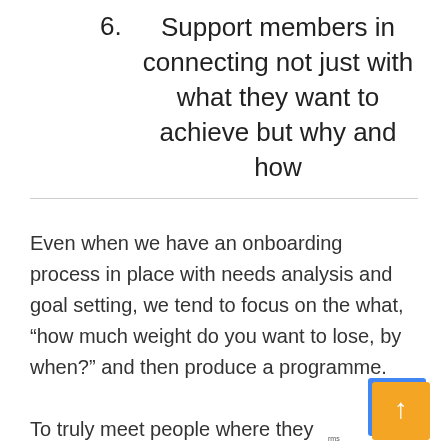6. Support members in connecting not just with what they want to achieve but why and how
Even when we have an onboarding process in place with needs analysis and goal setting, we tend to focus on the what, “how much weight do you want to lose, by when?” and then produce a programme.
To truly meet people where they